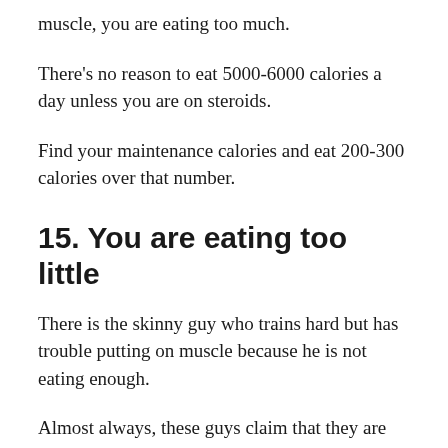muscle, you are eating too much.
There's no reason to eat 5000-6000 calories a day unless you are on steroids.
Find your maintenance calories and eat 200-300 calories over that number.
15. You are eating too little
There is the skinny guy who trains hard but has trouble putting on muscle because he is not eating enough.
Almost always, these guys claim that they are eating too much but they are unable to gain